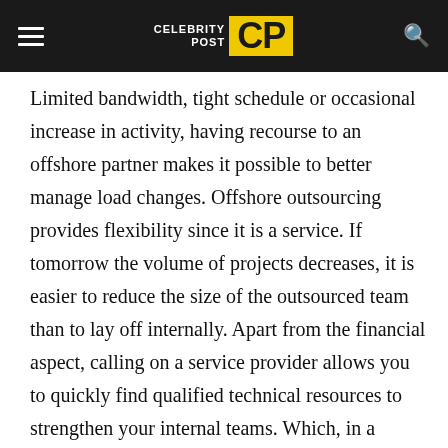CELEBRITY POST CP
Limited bandwidth, tight schedule or occasional increase in activity, having recourse to an offshore partner makes it possible to better manage load changes. Offshore outsourcing provides flexibility since it is a service. If tomorrow the volume of projects decreases, it is easier to reduce the size of the outsourced team than to lay off internally. Apart from the financial aspect, calling on a service provider allows you to quickly find qualified technical resources to strengthen your internal teams. Which, in a period that is changing as fast as ours, is essential to stay in the race against its competitors? With more than 50 developers in Madagascar on numerous technologies, Boca say is able to constitute and assemble a dedicated efficient team in less than 3 months to support you in the development of your production capacity.